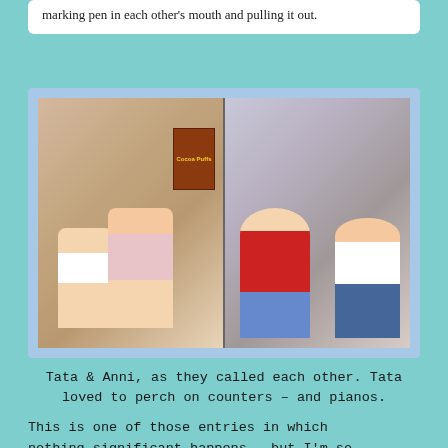marking pen in each other's mouth and pulling it out.
[Figure (photo): Two vintage photos side by side of two young toddler girls (Tata and Anni). Left photo: two babies sitting together indoors with a Cocoa Puffs box visible. Right photo: same two children slightly older, one in a red hoodie and one in a white and pink top with jeans.]
Tata & Anni, as they called each other. Tata loved to perch on counters – and pianos.
This is one of those entries in which nothing significant happens – but I'm so glad I wrote it down! Thirty-five years later, these are the entries I love to discover – and I do mean discover – because